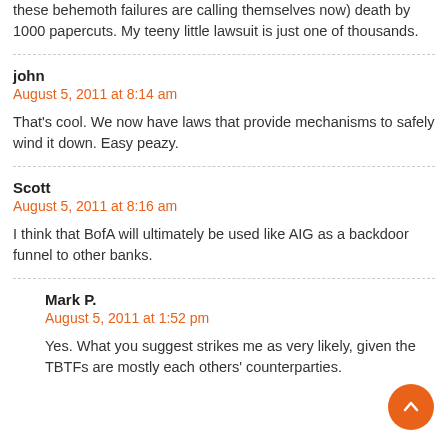these behemoth failures are calling themselves now) death by 1000 papercuts. My teeny little lawsuit is just one of thousands.
john
August 5, 2011 at 8:14 am
That's cool. We now have laws that provide mechanisms to safely wind it down. Easy peazy.
Scott
August 5, 2011 at 8:16 am
I think that BofA will ultimately be used like AIG as a backdoor funnel to other banks.
Mark P.
August 5, 2011 at 1:52 pm
Yes. What you suggest strikes me as very likely, given the TBTFs are mostly each others' counterparties.